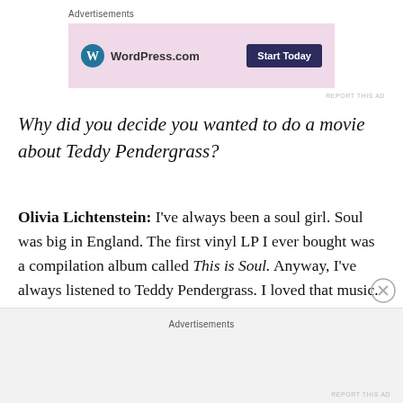[Figure (screenshot): WordPress.com advertisement banner with pink/lavender background, WordPress logo, 'WordPress.com' text, and 'Start Today' dark button]
REPORT THIS AD
Why did you decide you wanted to do a movie about Teddy Pendergrass?
Olivia Lichtenstein: I've always been a soul girl. Soul was big in England. The first vinyl LP I ever bought was a compilation album called This is Soul. Anyway, I've always listened to Teddy Pendergrass. I loved that music. Then, I started listening to him again in the last few years. I didn't really realize what had happened to him. I just thought: Oh, nobody talks about Teddy Pendergrass and they
Advertisements
REPORT THIS AD